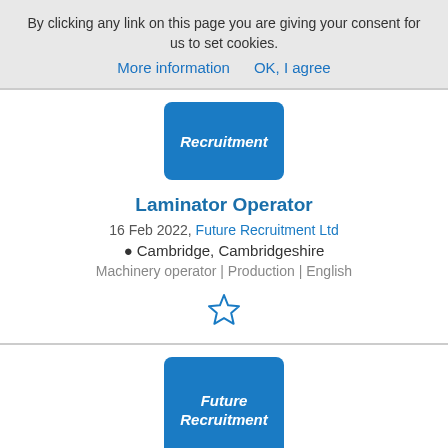By clicking any link on this page you are giving your consent for us to set cookies.
More information   OK, I agree
[Figure (logo): Blue rounded rectangle with white italic bold text: Recruitment]
Laminator Operator
16 Feb 2022, Future Recruitment Ltd
Cambridge, Cambridgeshire
Machinery operator | Production | English
[Figure (illustration): Star outline icon (bookmark/favourite)]
[Figure (logo): Blue rounded rectangle with white italic bold text: Future Recruitment]